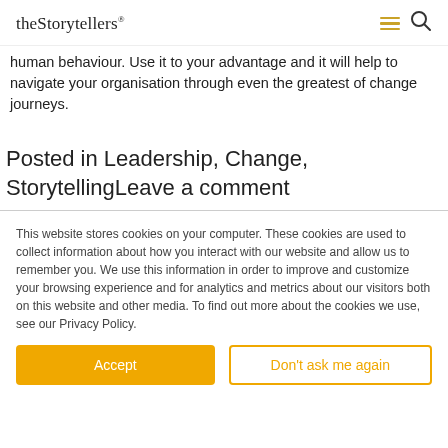theStorytellers
human behaviour. Use it to your advantage and it will help to navigate your organisation through even the greatest of change journeys.
Posted in Leadership, Change, StorytellingLeave a comment
This website stores cookies on your computer. These cookies are used to collect information about how you interact with our website and allow us to remember you. We use this information in order to improve and customize your browsing experience and for analytics and metrics about our visitors both on this website and other media. To find out more about the cookies we use, see our Privacy Policy.
Accept
Don't ask me again